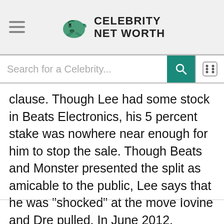Celebrity Net Worth
Search for a Celebrity...
clause. Though Lee had some stock in Beats Electronics, his 5 percent stake was nowhere near enough for him to stop the sale. Though Beats and Monster presented the split as amicable to the public, Lee says that he was "shocked" at the move Iovine and Dre pulled. In June 2012, Monster and Beats signed a definitive separation agreement.